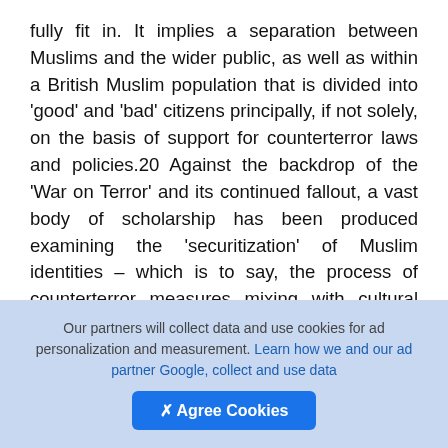fully fit in. It implies a separation between Muslims and the wider public, as well as within a British Muslim population that is divided into 'good' and 'bad' citizens principally, if not solely, on the basis of support for counterterror laws and policies.20 Against the backdrop of the 'War on Terror' and its continued fallout, a vast body of scholarship has been produced examining the 'securitization' of Muslim identities – which is to say, the process of counterterror measures mixing with cultural norms to produce social regimes within which Muslims are viewed primarily as a potential security th... Barring a few exceptions,22 in this literature the discourse of nationhood is conceptualized as
Our partners will collect data and use cookies for ad personalization and measurement. Learn how we and our ad partner Google, collect and use data
✗ Agree Cookies